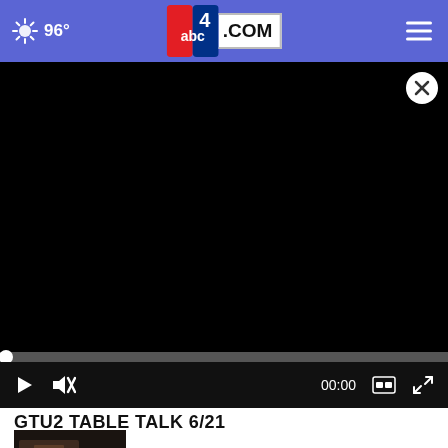96° abc4.com
[Figure (screenshot): Black video player area with close button (X), progress bar, and playback controls showing 00:00 timestamp, play button, mute button, captions button, and fullscreen button]
GTU2 TABLE TALK 6/21
[Figure (photo): Small thumbnail image of a video, partially visible at bottom of page]